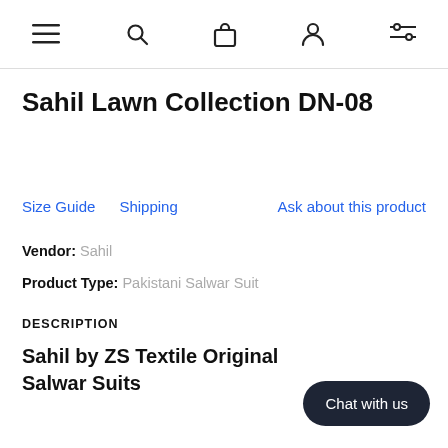Navigation icons: menu, search, bag, account, filters
Sahil Lawn Collection DN-08
Size Guide   Shipping   Ask about this product
Vendor: Sahil
Product Type: Pakistani Salwar Suit
DESCRIPTION
Sahil by ZS Textile Original Salwar Suits